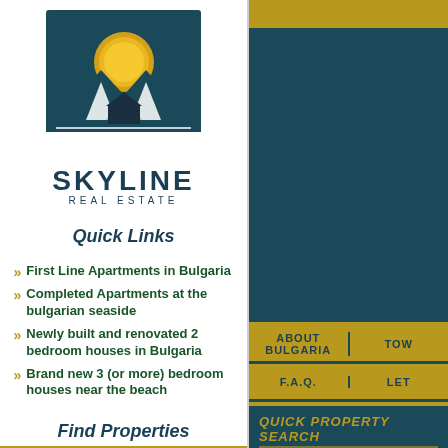[Figure (logo): Skyline Real Estate logo with teal square background, golden sun rising over a house/road silhouette]
SKYLINE
REAL ESTATE
Quick Links
First Line Apartments in Bulgaria
Completed Apartments at the bulgarian seaside
Newly built and renovated 2 bedroom houses in Bulgaria
Brand new 3 (or more) bedroom houses near the beach
Find Properties
BY TYPE
ABOUT BULGARIA
TOW...
F.A.Q.
LET...
QUICK PROPERTY SEARCH